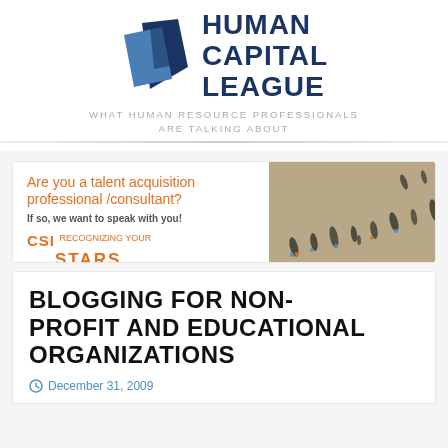[Figure (logo): Human Capital League logo with geometric diamond shape in dark navy and steel blue, with bold text 'HUMAN CAPITAL LEAGUE']
WHAT HUMAN RESOURCE PROFESSIONALS ARE TALKING ABOUT
[Figure (infographic): CSI Stars advertisement banner: 'Are you a talent acquisition professional /consultant? If so, we want to speak with you!' with aerial photo of people walking casting shadows]
BLOGGING FOR NON-PROFIT AND EDUCATIONAL ORGANIZATIONS
December 31, 2009